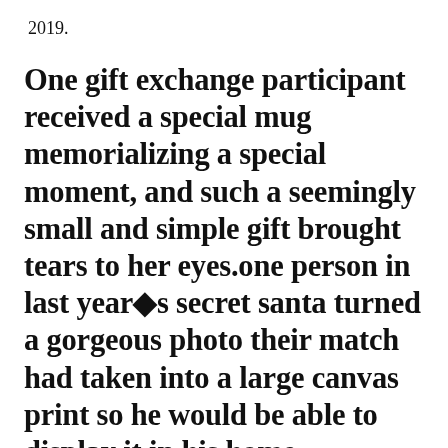2019.
One gift exchange participant received a special mug memorializing a special moment, and such a seemingly small and simple gift brought tears to her eyes.one person in last year�s secret santa turned a gorgeous photo their match had taken into a large canvas print so he would be able to display it in his home.